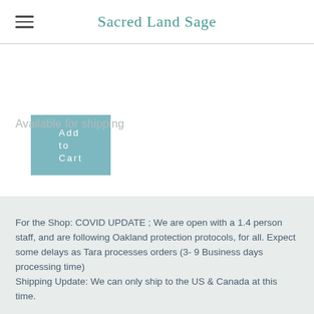Sacred Land Sage
Add to Cart
Available for shipping
For the Shop: COVID UPDATE ;  We are open with a 1.4 person staff, and are following Oakland protection protocols, for all. Expect some delays as Tara processes orders (3- 9 Business days processing time)
Shipping Update: We can only ship to the US & Canada at this time.